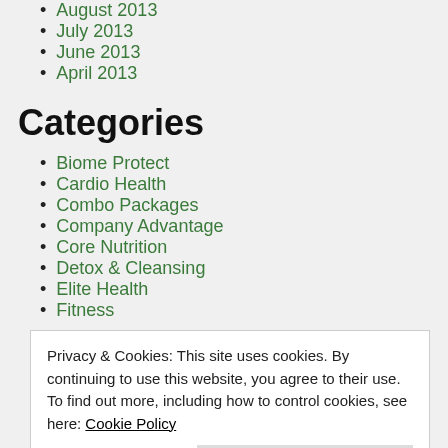August 2013
July 2013
June 2013
April 2013
Categories
Biome Protect
Cardio Health
Combo Packages
Company Advantage
Core Nutrition
Detox & Cleansing
Elite Health
Fitness
Privacy & Cookies: This site uses cookies. By continuing to use this website, you agree to their use. To find out more, including how to control cookies, see here: Cookie Policy
Nutrition